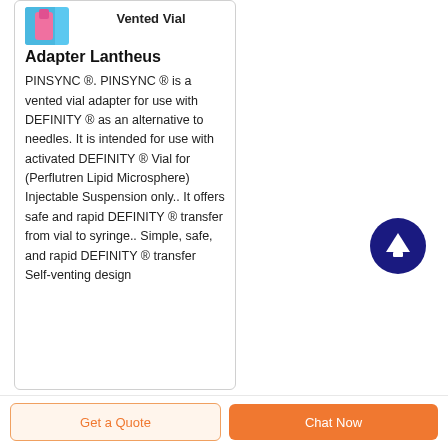[Figure (photo): Small product image showing the Vented Vial Adapter in pink/blue colors]
Vented Vial Adapter Lantheus
PINSYNC ®. PINSYNC ® is a vented vial adapter for use with DEFINITY ® as an alternative to needles. It is intended for use with activated DEFINITY ® Vial for (Perflutren Lipid Microsphere) Injectable Suspension only.. It offers safe and rapid DEFINITY ® transfer from vial to syringe.. Simple, safe, and rapid DEFINITY ® transfer Self-venting design
[Figure (illustration): Dark navy blue circular button with white upward arrow icon (scroll to top button)]
Get a Quote
Chat Now